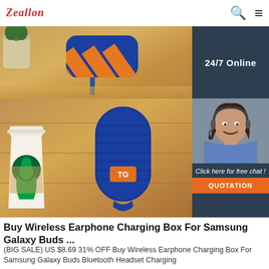Zeallon
[Figure (photo): Product page screenshot of a Zeallon e-commerce website showing a blue portable Bluetooth speaker (TG logo visible) on a wooden surface next to a Starbucks coffee cup, with a blue and orange striped pouch/bag in the top section. On the right side a 24/7 Online customer service panel shows a female agent with headset and a 'Click here for free chat!' label with QUOTATION button.]
Buy Wireless Earphone Charging Box For Samsung Galaxy Buds ...
(BIG SALE) US $8.69 31% OFF Buy Wireless Earphone Charging Box For Samsung Galaxy Buds Bluetooth Headset Charging